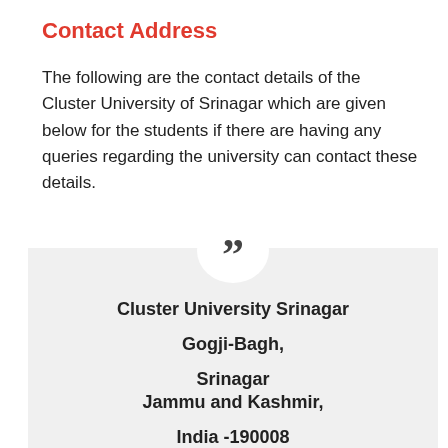Contact Address
The following are the contact details of the Cluster University of Srinagar which are given below for the students if there are having any queries regarding the university can contact these details.
Cluster University Srinagar
Gogji-Bagh,
Srinagar
Jammu and Kashmir,
India -190008